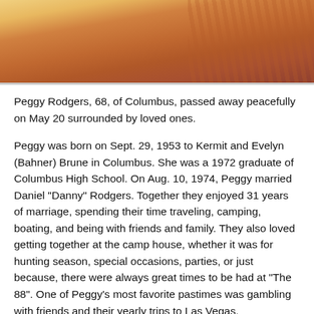[Figure (photo): Partial photo showing warm orange and tan tones, likely a close-up portrait cropped at the top of the page]
Peggy Rodgers, 68, of Columbus, passed away peacefully on May 20 surrounded by loved ones.
Peggy was born on Sept. 29, 1953 to Kermit and Evelyn (Bahner) Brune in Columbus. She was a 1972 graduate of Columbus High School. On Aug. 10, 1974, Peggy married Daniel "Danny" Rodgers. Together they enjoyed 31 years of marriage, spending their time traveling, camping, boating, and being with friends and family. They also loved getting together at the camp house, whether it was for hunting season, special occasions, parties, or just because, there were always great times to be had at "The 88". One of Peggy's most favorite pastimes was gambling with friends and their yearly trips to Las Vegas.
Peggy, an independent personality, was an e[...] hard worker. She made many friends and acquaintances at the local Columbus businesses in which she was employed.